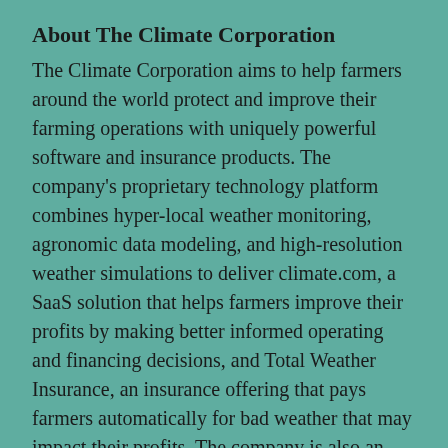About The Climate Corporation
The Climate Corporation aims to help farmers around the world protect and improve their farming operations with uniquely powerful software and insurance products. The company's proprietary technology platform combines hyper-local weather monitoring, agronomic data modeling, and high-resolution weather simulations to deliver climate.com, a SaaS solution that helps farmers improve their profits by making better informed operating and financing decisions, and Total Weather Insurance, an insurance offering that pays farmers automatically for bad weather that may impact their profits. The company is also an authorized provider of the U.S. Federal crop insurance program, enabling authorized independent crop insurance agents to provide farmers with the industry's most powerful full-stack risk management solution. In the face of increasingly volatile weather, the global $3 trillion